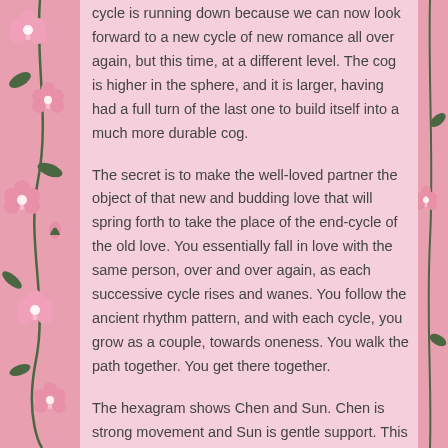cycle is running down because we can now look forward to a new cycle of new romance all over again, but this time, at a different level. The cog is higher in the sphere, and it is larger, having had a full turn of the last one to build itself into a much more durable cog.
The secret is to make the well-loved partner the object of that new and budding love that will spring forth to take the place of the end-cycle of the old love. You essentially fall in love with the same person, over and over again, as each successive cycle rises and wanes. You follow the ancient rhythm pattern, and with each cycle, you grow as a couple, towards oneness. You walk the path together. You get there together.
The hexagram shows Chen and Sun. Chen is strong movement and Sun is gentle support. This means that